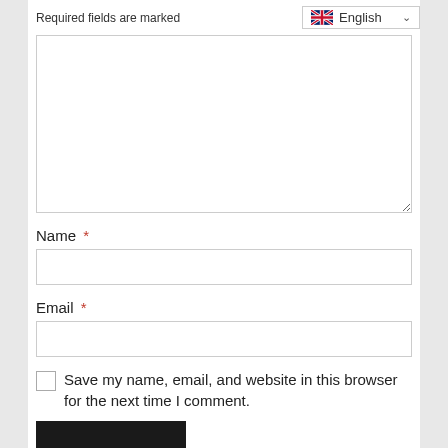Required fields are marked
English
[Figure (other): Large comment text area input box]
Name *
[Figure (other): Name text input field]
Email *
[Figure (other): Email text input field]
Save my name, email, and website in this browser for the next time I comment.
[Figure (other): Submit button (dark/black color)]